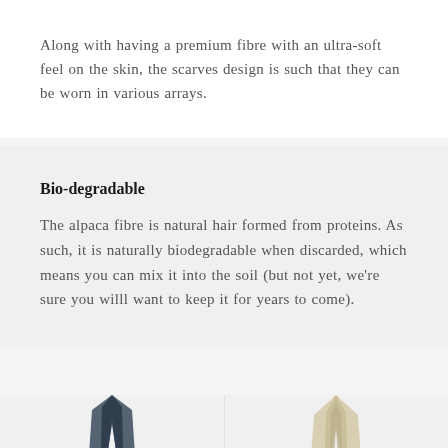Along with having a premium fibre with an ultra-soft feel on the skin, the scarves design is such that they can be worn in various arrays.
Bio-degradable
The alpaca fibre is natural hair formed from proteins. As such, it is naturally biodegradable when discarded, which means you can mix it into the soil (but not yet, we're sure you willl want to keep it for years to come).
[Figure (photo): Two product photos of alpaca scarves side by side — left shows a dark navy/blue scarf hanging, right shows a cream/beige scarf hanging]